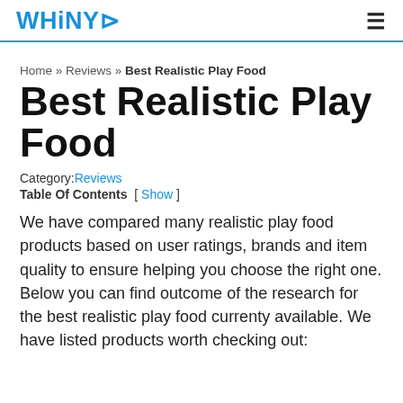WHiNYL [hamburger menu]
Home » Reviews » Best Realistic Play Food
Best Realistic Play Food
Category: Reviews
Table Of Contents  [ Show ]
We have compared many realistic play food products based on user ratings, brands and item quality to ensure helping you choose the right one. Below you can find outcome of the research for the best realistic play food currenty available. We have listed products worth checking out: